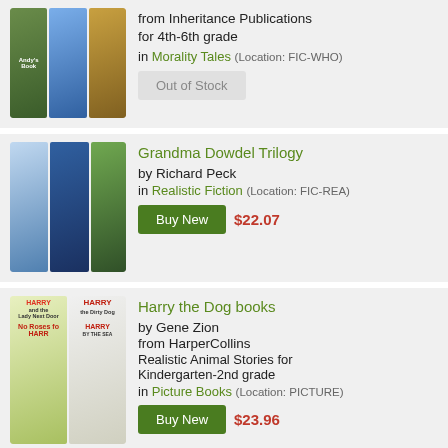from Inheritance Publications for 4th-6th grade
in Morality Tales (Location: FIC-WHO)
Out of Stock
Grandma Dowdel Trilogy
by Richard Peck
in Realistic Fiction (Location: FIC-REA)
Buy New $22.07
Harry the Dog books
by Gene Zion
from HarperCollins
Realistic Animal Stories for Kindergarten-2nd grade
in Picture Books (Location: PICTURE)
Buy New $23.96